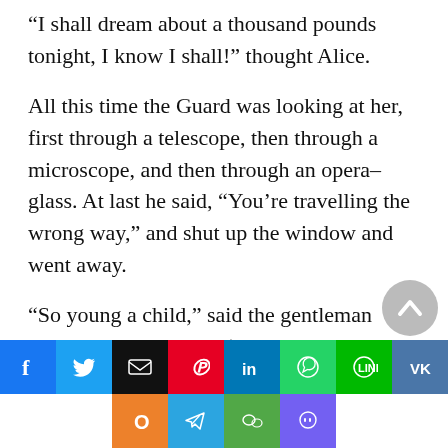“I shall dream about a thousand pounds tonight, I know I shall!” thought Alice.
All this time the Guard was looking at her, first through a telescope, then through a microscope, and then through an opera–glass. At last he said, “You’re travelling the wrong way,” and shut up the window and went away.
“So young a child,” said the gentleman sitting opposite to her (he was dressed in white paper), “ought to know which way she’s going, even if she doesn’t know her own name!”
[Figure (infographic): Social media sharing buttons row 1: Facebook (blue), Twitter (blue), Email (black), Pinterest (red), LinkedIn (blue), WhatsApp (green), Line (green), VK (blue). Row 2: Odnoklassniki (orange), Telegram (blue), WeChat (green), Viber (purple).]